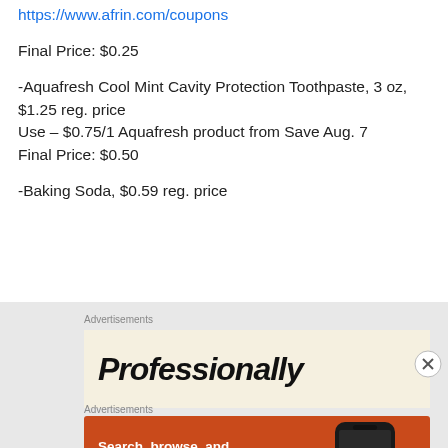https://www.afrin.com/coupons
Final Price: $0.25
-Aquafresh Cool Mint Cavity Protection Toothpaste, 3 oz, $1.25 reg. price
Use – $0.75/1 Aquafresh product from Save Aug. 7
Final Price: $0.50
-Baking Soda, $0.59 reg. price
[Figure (advertisement): Cream-colored advertisement banner with partial text 'Professionally...']
[Figure (advertisement): DuckDuckGo orange advertisement: 'Search, browse, and email with more privacy. All in One Free App' with DuckDuckGo logo and phone graphic]